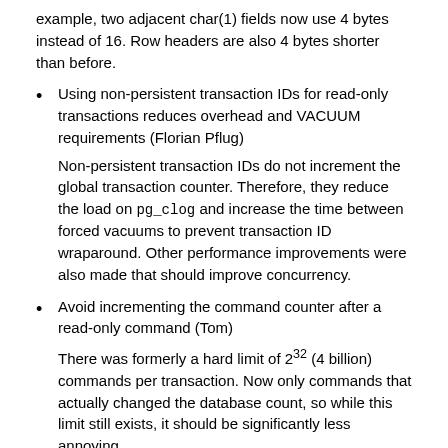example, two adjacent char(1) fields now use 4 bytes instead of 16. Row headers are also 4 bytes shorter than before.
Using non-persistent transaction IDs for read-only transactions reduces overhead and VACUUM requirements (Florian Pflug)
Non-persistent transaction IDs do not increment the global transaction counter. Therefore, they reduce the load on pg_clog and increase the time between forced vacuums to prevent transaction ID wraparound. Other performance improvements were also made that should improve concurrency.
Avoid incrementing the command counter after a read-only command (Tom)
There was formerly a hard limit of 2^32 (4 billion) commands per transaction. Now only commands that actually changed the database count, so while this limit still exists, it should be significantly less annoying.